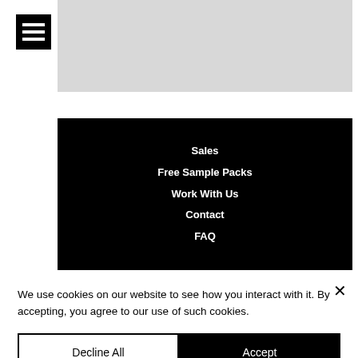[Figure (other): Hamburger menu icon — three white horizontal bars on black background]
[Figure (other): Gray blurred image area at top right]
[Figure (other): Black navigation menu panel with white text links]
Sales
Free Sample Packs
Work With Us
Contact
FAQ
We use cookies on our website to see how you interact with it. By accepting, you agree to our use of such cookies.
Decline All
Accept
Settings